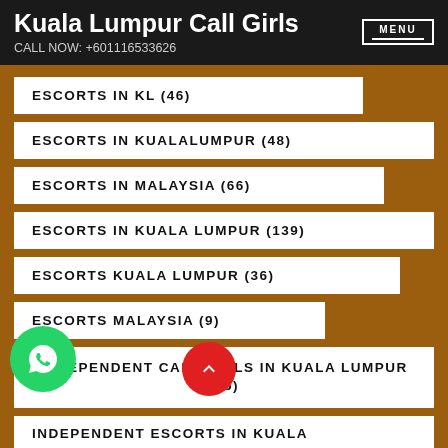Kuala Lumpur Call Girls
CALL NOW: +601116533626
ESCORTS IN KL (46)
ESCORTS IN KUALALUMPUR (48)
ESCORTS IN MALAYSIA (66)
ESCORTS IN KUALA LUMPUR (139)
ESCORTS KUALA LUMPUR (36)
ESCORTS MALAYSIA (9)
INDEPENDENT CALL GIRLS IN KUALA LUMPUR (26)
INDEPENDENT ESCORTS IN KUALA